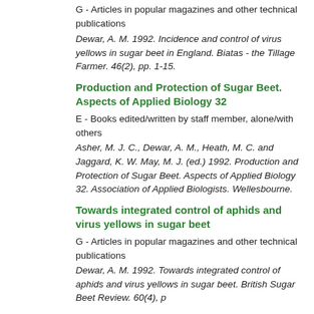G - Articles in popular magazines and other technical publications
Dewar, A. M. 1992. Incidence and control of virus yellows in sugar beet in England. Biatas - the Tillage Farmer. 46(2), pp. 1-15.
Production and Protection of Sugar Beet. Aspects of Applied Biology 32
E - Books edited/written by staff member, alone/with others
Asher, M. J. C., Dewar, A. M., Heath, M. C. and Jaggard, K. W. May, M. J. (ed.) 1992. Production and Protection of Sugar Beet. Aspects of Applied Biology 32. Association of Applied Biologists. Wellesbourne.
Towards integrated control of aphids and virus yellows in sugar beet
G - Articles in popular magazines and other technical publications
Dewar, A. M. 1992. Towards integrated control of aphids and virus yellows in sugar beet. British Sugar Beet Review. 60(4), p